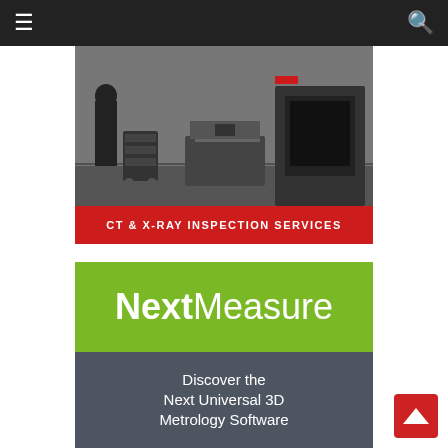Navigation bar with menu and search icons
[Figure (photo): Black and white photo of a laboratory/inspection facility interior showing a person with equipment cart and workstations, with a red banner overlay reading CT & X-RAY INSPECTION SERVICES]
[Figure (logo): NextMeasure logo on green background above text 'Discover the Next Universal 3D Metrology Software' on dark grey background]